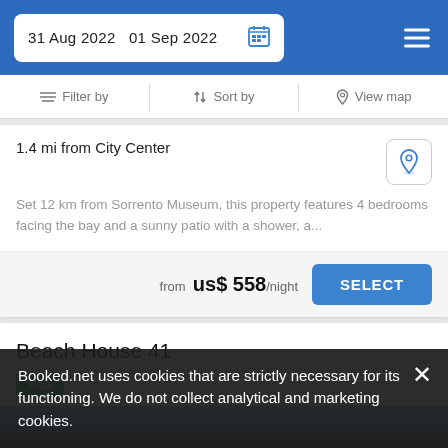31 Aug 2022  01 Sep 2022
Filter by  Sort by  View map
1.4 mi from City Center
Set 12 km from Sorrento Museum, this property features 4 bedrooms facing the bay and a sunny patio with a shower, a...
from  us$ 558/night  SELECT
Beach House 41
Villa
[Figure (photo): Partial view of Beach House 41 property exterior with blue sky]
Booked.net uses cookies that are strictly necessary for its functioning. We do not collect analytical and marketing cookies.